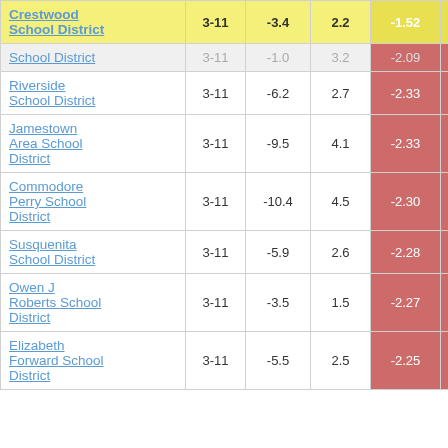| District | Grades | Col3 | Col4 | Score |  |
| --- | --- | --- | --- | --- | --- |
| Crestwood School District | 3-11 | -3.4 | 2.2 | -1.52 |  |
| School District | 3-11 | -1.0 | 3.2 | -2.09 |  |
| Riverside School District | 3-11 | -6.2 | 2.7 | -2.33 |  |
| Jamestown Area School District | 3-11 | -9.5 | 4.1 | -2.33 |  |
| Commodore Perry School District | 3-11 | -10.4 | 4.5 | -2.30 |  |
| Susquenita School District | 3-11 | -5.9 | 2.6 | -2.28 |  |
| Owen J Roberts School District | 3-11 | -3.5 | 1.5 | -2.27 |  |
| Elizabeth Forward School District | 3-11 | -5.5 | 2.5 | -2.25 |  |